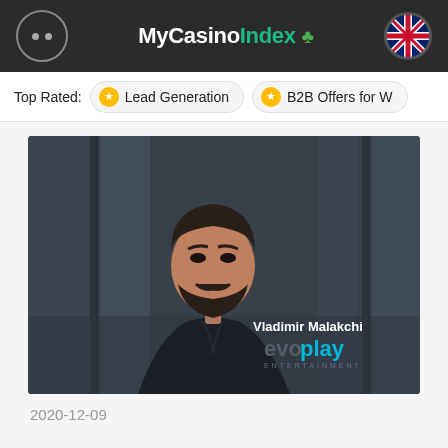MyCasinoIndex
Top Rated: Lead Generation  B2B Offers for W…
[Figure (photo): Portrait photo of Vladimir Malakchi, a bearded man in a dark suit, with evoplay logo overlay in the lower right corner]
2020-12-09